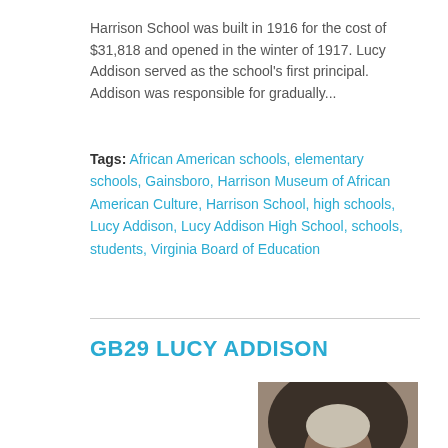Harrison School was built in 1916 for the cost of $31,818 and opened in the winter of 1917. Lucy Addison served as the school's first principal. Addison was responsible for gradually...
Tags: African American schools, elementary schools, Gainsboro, Harrison Museum of African American Culture, Harrison School, high schools, Lucy Addison, Lucy Addison High School, schools, students, Virginia Board of Education
GB29 LUCY ADDISON
[Figure (photo): Sepia-toned portrait photograph of Lucy Addison, an African American woman with short grey hair, looking slightly to the side.]